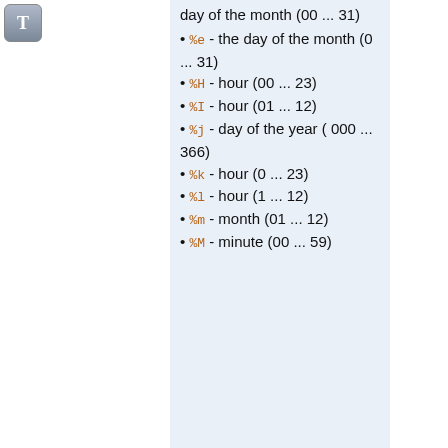[Figure (other): Small toolbar icon with letter T on gray/blue gradient background]
day of the month (00 ... 31)
%e - the day of the month (0 ... 31)
%H - hour (00 ... 23)
%I - hour (01 ... 12)
%j - day of the year ( 000 ... 366)
%k - hour (0 ... 23)
%l - hour (1 ... 12)
%m - month (01 ... 12)
%M - minute (00 ... 59)